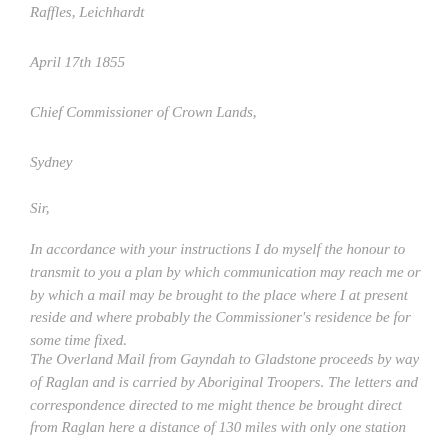Raffles, Leichhardt
April 17th 1855
Chief Commissioner of Crown Lands,
Sydney
Sir,
In accordance with your instructions I do myself the honour to transmit to you a plan by which communication may reach me or by which a mail may be brought to the place where I at present reside and where probably the Commissioner's residence be for some time fixed.
The Overland Mail from Gayndah to Gladstone proceeds by way of Raglan and is carried by Aboriginal Troopers. The letters and correspondence directed to me might thence be brought direct from Raglan here a distance of 130 miles with only one station